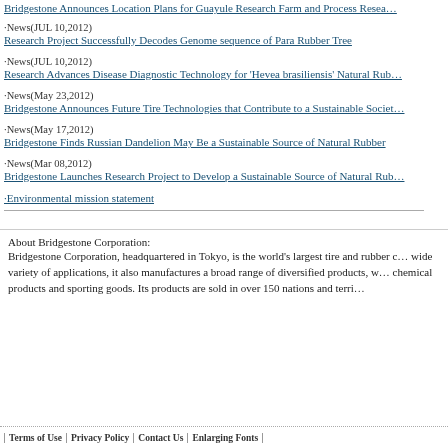Bridgestone Announces Location Plans for Guayule Research Farm and Process Resea...
·News(JUL 10,2012)
Research Project Successfully Decodes Genome sequence of Para Rubber Tree
·News(JUL 10,2012)
Research Advances Disease Diagnostic Technology for 'Hevea brasiliensis' Natural Rub...
·News(May 23,2012)
Bridgestone Announces Future Tire Technologies that Contribute to a Sustainable Socie...
·News(May 17,2012)
Bridgestone Finds Russian Dandelion May Be a Sustainable Source of Natural Rubber
·News(Mar 08,2012)
Bridgestone Launches Research Project to Develop a Sustainable Source of Natural Rub...
·Environmental mission statement
About Bridgestone Corporation:
Bridgestone Corporation, headquartered in Tokyo, is the world's largest tire and rubber c... wide variety of applications, it also manufactures a broad range of diversified products, w... chemical products and sporting goods. Its products are sold in over 150 nations and terri...
Terms of Use | Privacy Policy | Contact Us | Enlarging Fonts